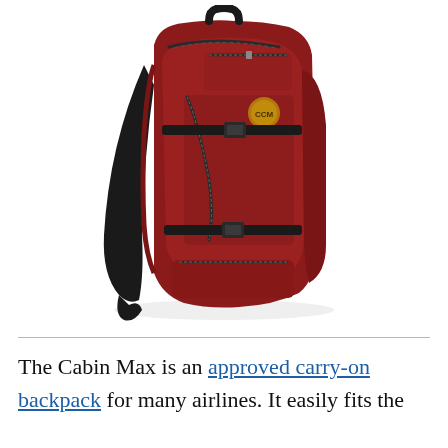[Figure (photo): A large red/dark-red travel backpack (Cabin Max brand) with black straps, black compression buckles, multiple zippered compartments, a top carry handle, and a circular logo badge on the front pocket. The backpack is photographed at a slight angle on a white background.]
The Cabin Max is an approved carry-on backpack for many airlines. It easily fits the